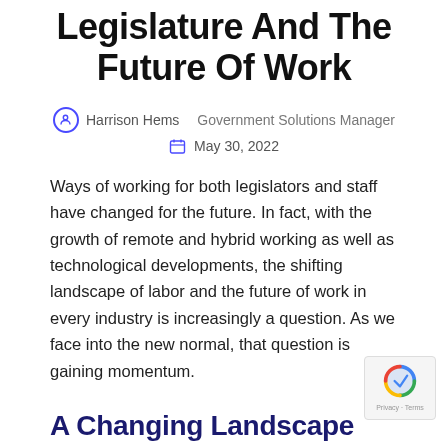Legislature And The Future Of Work
Harrison Hems   Government Solutions Manager   May 30, 2022
Ways of working for both legislators and staff have changed for the future. In fact, with the growth of remote and hybrid working as well as technological developments, the shifting landscape of labor and the future of work in every industry is increasingly a question. As we face into the new normal, that question is gaining momentum.
A Changing Landscape